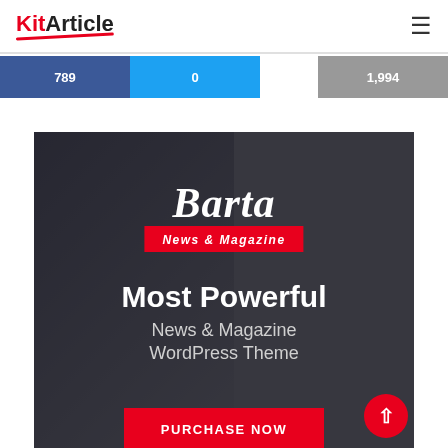[Figure (logo): KitArticle logo with red 'Kit' and black 'Article' text, red underline swish]
[Figure (infographic): Social media share bar: Facebook (blue), Twitter (light blue), and YouTube/Email (grey) buttons with partial follower counts visible]
[Figure (photo): Banner showing woman with glasses smiling, dark overlay, Barta News & Magazine logo, 'Most Powerful News & Magazine WordPress Theme' text, and red 'PURCHASE NOW' button]